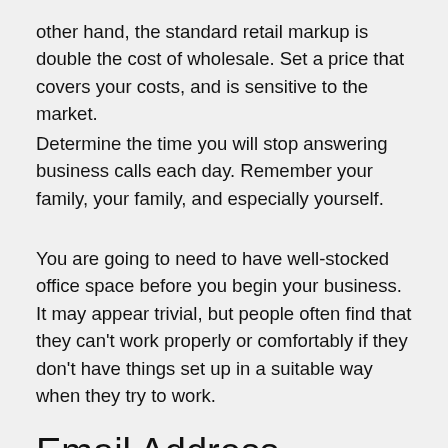other hand, the standard retail markup is double the cost of wholesale. Set a price that covers your costs, and is sensitive to the market.
Determine the time you will stop answering business calls each day. Remember your family, your family, and especially yourself.
You are going to need to have well-stocked office space before you begin your business. It may appear trivial, but people often find that they can't work properly or comfortably if they don't have things set up in a suitable way when they try to work.
Email Address
Make sure that you always dress for success. When working at home, it is tempting to work all day in your pajamas. Getting dressed for work, just like in a normal business, can benefit you in the long run. Dressing professional means you think and act